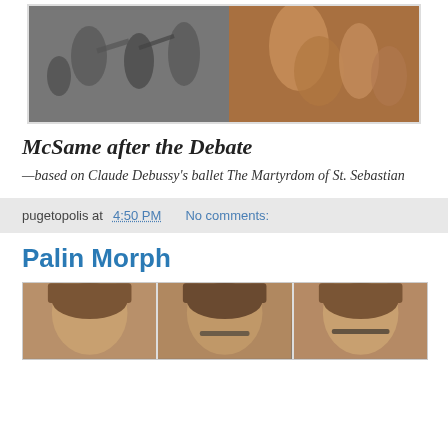[Figure (photo): Black and white and color composite photo showing ballet dancers and a painted or illustrated figure, appearing to be a collage or artistic composition]
McSame after the Debate
—based on Claude Debussy's ballet The Martyrdom of St. Sebastian
pugetopolis at 4:50 PM   No comments:
Palin Morph
[Figure (photo): Three side-by-side portrait photos of a woman with brown hair and glasses, appearing to be a morph sequence]